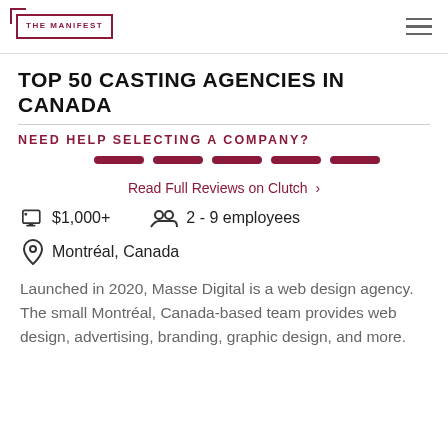THE MANIFEST
TOP 50 CASTING AGENCIES IN CANADA
NEED HELP SELECTING A COMPANY?
[Figure (other): Five dark red rounded progress/rating bar segments]
Read Full Reviews on Clutch ›
$1,000+
2 - 9 employees
Montréal, Canada
Launched in 2020, Masse Digital is a web design agency. The small Montréal, Canada-based team provides web design, advertising, branding, graphic design, and more.